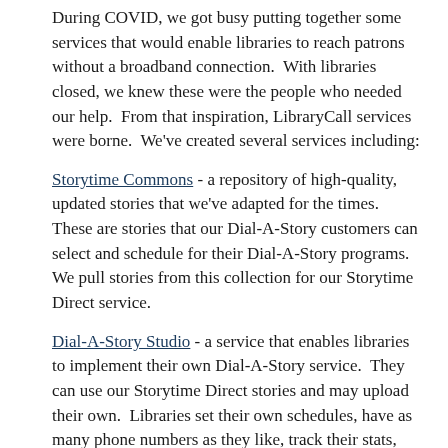During COVID, we got busy putting together some services that would enable libraries to reach patrons without a broadband connection.  With libraries closed, we knew these were the people who needed our help.  From that inspiration, LibraryCall services were borne.  We've created several services including:
Storytime Commons - a repository of high-quality, updated stories that we've adapted for the times.  These are stories that our Dial-A-Story customers can select and schedule for their Dial-A-Story programs.  We pull stories from this collection for our Storytime Direct service.
Dial-A-Story Studio - a service that enables libraries to implement their own Dial-A-Story service.  They can use our Storytime Direct stories and may upload their own.  Libraries set their own schedules, have as many phone numbers as they like, track their stats, and use our widgets so that the service is available to phone-only patrons as well as online patrons.